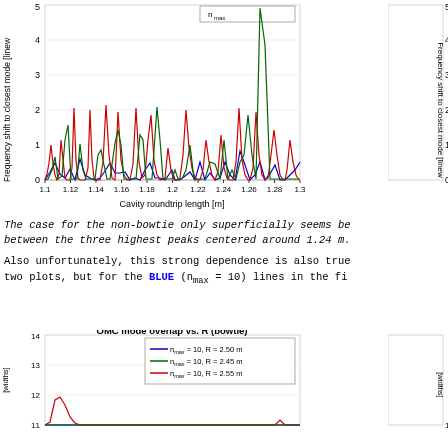[Figure (continuous-plot): Line chart showing frequency shift to closest mode [linewidths] vs cavity roundtrip length [m] from 1.1 to 1.3 m, with three colored lines (blue, red, green) showing oscillating peaks of varying heights up to ~5 linewidths]
The case for the non-bowtie only superficially seems be between the three highest peaks centered around 1.24 m.
Also unfortunately, this strong dependence is also true two plots, but for the BLUE (n_max = 10) lines in the fi
[Figure (continuous-plot): Line chart titled 'OMC mode overlap vs. R (bowtie)' showing linewidths vs cavity roundtrip length, with legend entries for n_max=10 R=2.50m (blue), n_max=10 R=2.45m (green), n_max=10 R=2.55m (red). Y-axis from 11-14.]